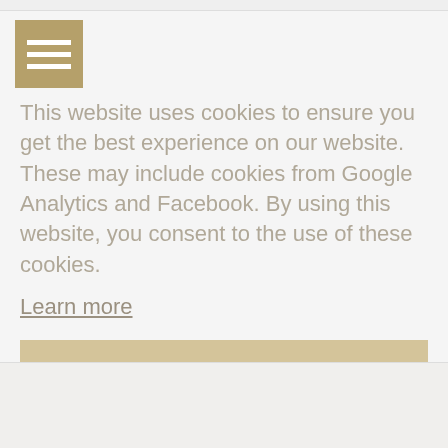[Figure (screenshot): Hamburger menu icon: three white horizontal lines on a tan/gold square background]
This website uses cookies to ensure you get the best experience on our website. These may include cookies from Google Analytics and Facebook. By using this website, you consent to the use of these cookies.
Learn more
Got it!